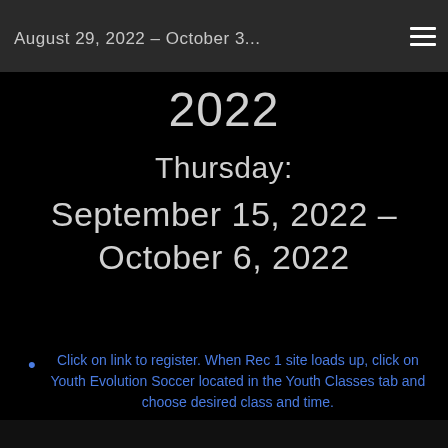August 29, 2022 - October 3...
2022
Thursday: September 15, 2022 - October 6, 2022
Click on link to register. When Rec 1 site loads up, click on Youth Evolution Soccer located in the Youth Classes tab and choose desired class and time.